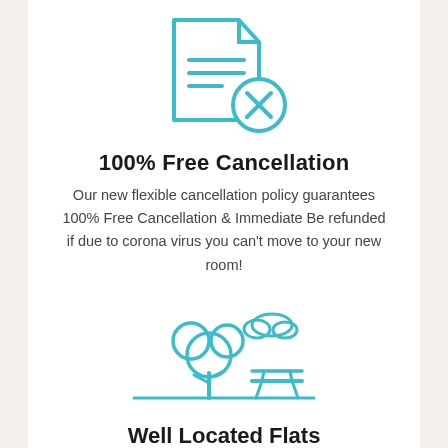[Figure (illustration): Teal/cyan outline icon of a document with lines of text and an X circle badge in the bottom right corner, representing cancellation]
100% Free Cancellation
Our new flexible cancellation policy guarantees 100% Free Cancellation & Immediate Be refunded if due to corona virus you can't move to your new room!
[Figure (illustration): Teal/cyan outline icon of a park scene with a large tree, a small cloud, and a bench, representing well-located flats near parks]
Well Located Flats
Our flats are located right next to parks and